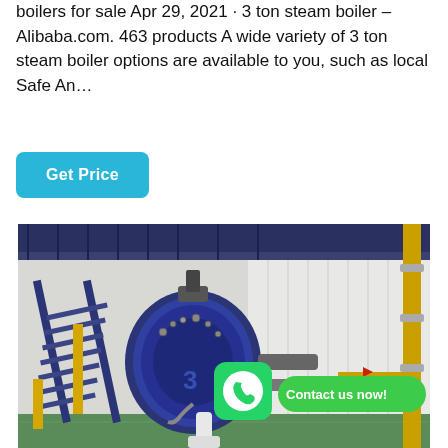boilers for sale Apr 29, 2021 · 3 ton steam boiler – Alibaba.com. 463 products A wide variety of 3 ton steam boiler options are available to you, such as local Safe An...
Get Price
[Figure (photo): Industrial steam boiler in a factory setting — large blue cylindrical boiler with access stairs, yellow gas pipes on the right, green floor, white wall panels. WhatsApp icon and 'Contact us now!' green button overlay in the lower center.]